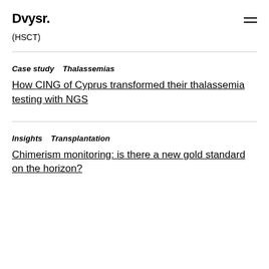Dvysr.
(HSCT)
Case study   Thalassemias
How CING of Cyprus transformed their thalassemia testing with NGS
Insights   Transplantation
Chimerism monitoring: is there a new gold standard on the horizon?